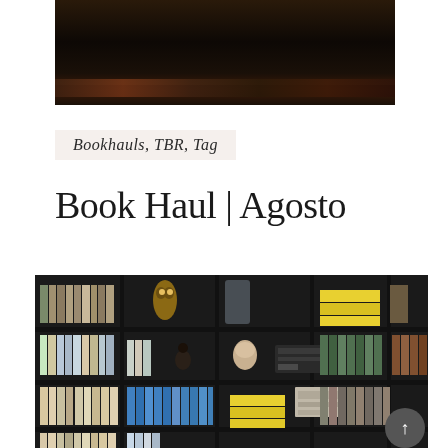[Figure (photo): Top portion of a dark bookshelf or leather surface, very dark brown/black tones, partially cropped at top of page]
Bookhauls, TBR, Tag
Book Haul | Agosto
[Figure (photo): A dark wooden bookshelf filled with books and decorative objects including yellow stacked books, figurines, a stereo/radio, and various book spines in multiple rows and columns]